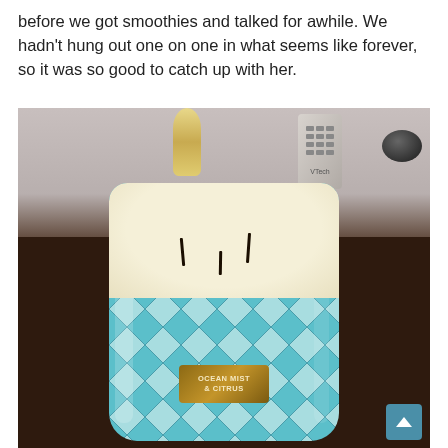before we got smoothies and talked for awhile. We hadn't hung out one on one in what seems like forever, so it was so good to catch up with her.
[Figure (photo): A large three-wick candle in a teal/turquoise diamond-patterned glass jar with a label reading 'Ocean Mist & Citrus', sitting on a dark brown wooden table. In the background there is a golden stand/trophy object, a VTech cordless phone, and a black stone.]